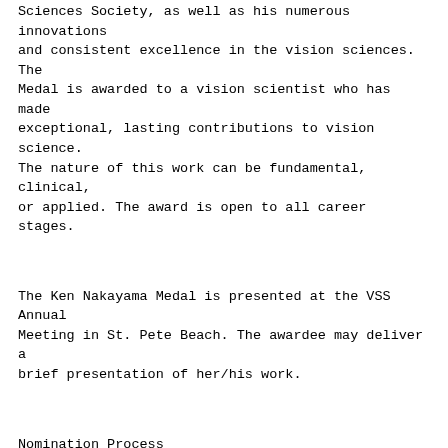Sciences Society, as well as his numerous innovations and consistent excellence in the vision sciences. The Medal is awarded to a vision scientist who has made exceptional, lasting contributions to vision science. The nature of this work can be fundamental, clinical, or applied. The award is open to all career stages.
The Ken Nakayama Medal is presented at the VSS Annual Meeting in St. Pete Beach. The awardee may deliver a brief presentation of her/his work.
Nomination Process
Current regular members and emeritus members of the Vision Sciences Society are eligible to nominate a candidate for the award. A nominee need not be a member of the Vision Sciences Society. Previously considered nominees are eligible to be re-nominated.
For detailed information on how to submit a nomination, see  <http://r20.rs6.net/tn.jsp?f=001pW5UPHDZtK8eG9xozPf9xpAijB9cRKwsN90cv6PNBOH-Y1W5rJZpYf4XY4UiinrvkbXauIRN3QNXJ823CwW_PmKVBi3gooeW-PfUfSti6Ji1ByMPYzehCuhGbnknTqKc75OhjR69LfhsGS4GRnsxT4UCE7...